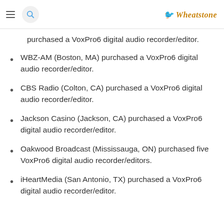Wheatstone
purchased a VoxPro6 digital audio recorder/editor.
WBZ-AM (Boston, MA) purchased a VoxPro6 digital audio recorder/editor.
CBS Radio (Colton, CA) purchased a VoxPro6 digital audio recorder/editor.
Jackson Casino (Jackson, CA) purchased a VoxPro6 digital audio recorder/editor.
Oakwood Broadcast (Mississauga, ON) purchased five VoxPro6 digital audio recorder/editors.
iHeartMedia (San Antonio, TX) purchased a VoxPro6 digital audio recorder/editor.